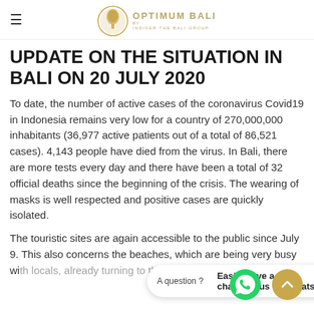OPTIMUM BALI — By Insider The Bali Group
UPDATE ON THE SITUATION IN BALI ON 20 JULY 2020
To date, the number of active cases of the coronavirus Covid19 in Indonesia remains very low for a country of 270,000,000 inhabitants (36,977 active patients out of a total of 86,521 cases). 4,143 people have died from the virus. In Bali, there are more tests every day and there have been a total of 32 official deaths since the beginning of the crisis. The wearing of masks is well respected and positive cases are quickly isolated.
The touristic sites are again accessible to the public since July 9. This also concerns the beaches, which are being very busy wi... y... ning to thi... activity, whic... w... While m... the... l... f... t... the... bout the... d of th...